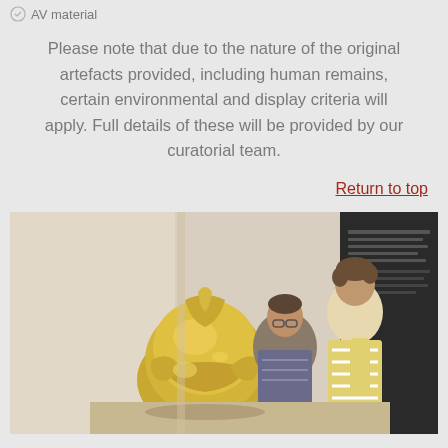AV material
Please note that due to the nature of the original artefacts provided, including human remains, certain environmental and display criteria will apply. Full details of these will be provided by our curatorial team.
Return to top
[Figure (photo): A child and an adult leaning over a shiny gold Roman helmet on display in a museum, with informational panels visible in the background.]